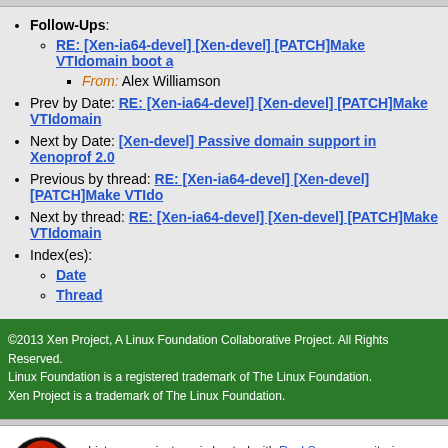Follow-Ups:
RE: [Xen-ia64-devel] [Xen-devel] [PATCH]Make VTIdomain boot a
From: Alex Williamson
Prev by Date: RE: [Xen-ia64-devel] [Xen-devel] [PATCH]Make VTIdomain
Next by Date: [Xen-devel] Passive domain support in Xenoprof 2.0
Previous by thread: RE: [Xen-ia64-devel] [Xen-devel] [PATCH]Make VTIdo
Next by thread: RE: [Xen-ia64-devel] [Xen-devel] [PATCH]Make VTIdomain
Index(es):
Date
Thread
©2013 Xen Project, A Linux Foundation Collaborative Project. All Rights Reserved. Linux Foundation is a registered trademark of The Linux Foundation. Xen Project is a trademark of The Linux Foundation.
Lists.xenproject.org is hosted with RackSpace, monitoring our servers 24x7x365 and backed by RackSpace's Fanatical Support®.